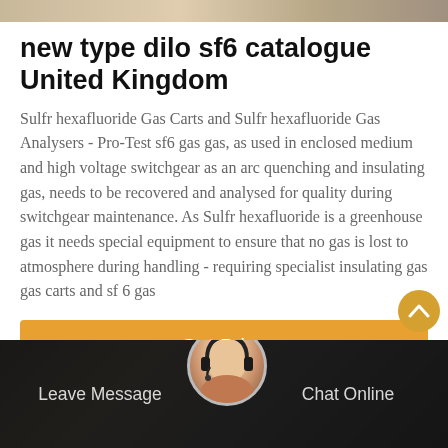[Figure (photo): Partial image at top of page, appears to be industrial/equipment photo]
new type dilo sf6 catalogue United Kingdom
Sulfr hexafluoride Gas Carts and Sulfr hexafluoride Gas Analysers - Pro-Test sf6 gas gas, as used in enclosed medium and high voltage switchgear as an arc quenching and insulating gas, needs to be recovered and analysed for quality during switchgear maintenance. As Sulfr hexafluoride is a greenhouse gas it needs special equipment to ensure that no gas is lost to atmosphere during handling - requiring specialist insulating gas gas carts and sf 6 gas
[Figure (other): Orange 'Get Price' button]
[Figure (photo): Footer bar with dark background showing industrial equipment, Leave Message and Chat Online links, and a customer service avatar]